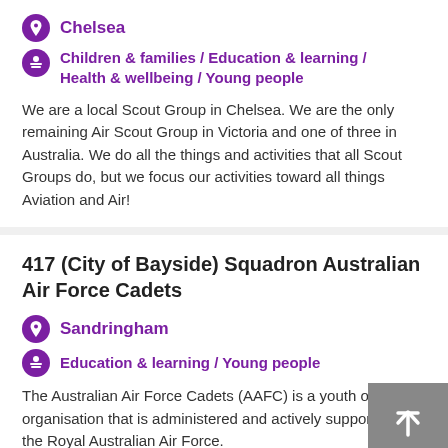Chelsea
Children & families / Education & learning / Health & wellbeing / Young people
We are a local Scout Group in Chelsea. We are the only remaining Air Scout Group in Victoria and one of three in Australia. We do all the things and activities that all Scout Groups do, but we focus our activities toward all things Aviation and Air!
417 (City of Bayside) Squadron Australian Air Force Cadets
Sandringham
Education & learning / Young people
The Australian Air Force Cadets (AAFC) is a youth oriented organisation that is administered and actively supported by the Royal Australian Air Force.